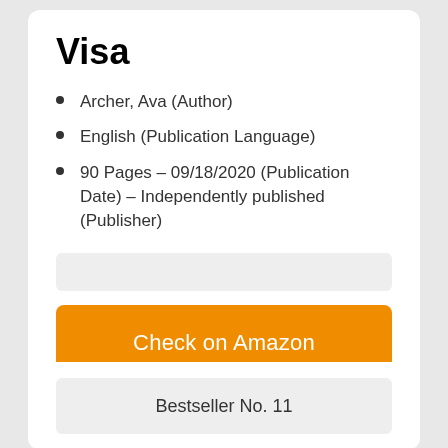Visa
Archer, Ava (Author)
English (Publication Language)
90 Pages – 09/18/2020 (Publication Date) – Independently published (Publisher)
[Figure (other): Gray input/search bar]
[Figure (other): Orange 'Check on Amazon' button]
Bestseller No. 11